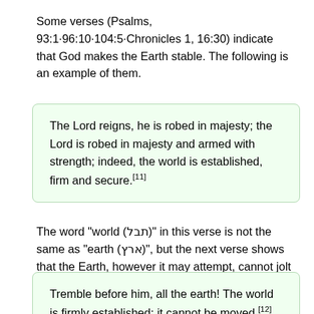Some verses (Psalms, 93:1·96:10·104:5·Chronicles 1, 16:30) indicate that God makes the Earth stable. The following is an example of them.
The Lord reigns, he is robed in majesty; the Lord is robed in majesty and armed with strength; indeed, the world is established, firm and secure.[11]
The word “world (תבל)” in this verse is not the same as “earth (ארץ)”, but the next verse shows that the Earth, however it may attempt, cannot jolt the world established by God.
Tremble before him, all the earth! The world is firmly established; it cannot be moved.[12]